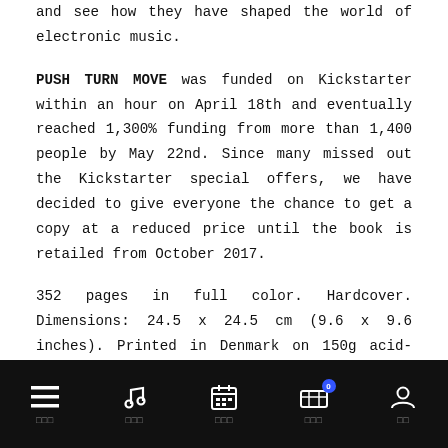and see how they have shaped the world of electronic music.
PUSH TURN MOVE was funded on Kickstarter within an hour on April 18th and eventually reached 1,300% funding from more than 1,400 people by May 22nd. Since many missed out the Kickstarter special offers, we have decided to give everyone the chance to get a copy at a reduced price until the book is retailed from October 2017.
352 pages in full color. Hardcover. Dimensions: 24.5 x 24.5 cm (9.6 x 9.6 inches). Printed in Denmark on 150g acid-free quality paper.
Navigation bar with icons: menu, music, calendar, cart (badge: 0), profile